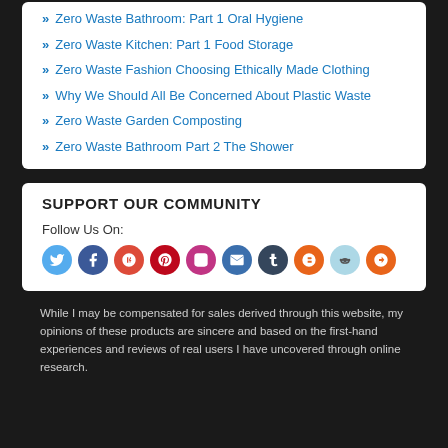Zero Waste Bathroom: Part 1 Oral Hygiene
Zero Waste Kitchen: Part 1 Food Storage
Zero Waste Fashion Choosing Ethically Made Clothing
Why We Should All Be Concerned About Plastic Waste
Zero Waste Garden Composting
Zero Waste Bathroom Part 2 The Shower
SUPPORT OUR COMMUNITY
Follow Us On:
[Figure (infographic): Row of social media circular icon buttons: Twitter (light blue), Facebook (dark blue), Google+ (red), Pinterest (dark red), Instagram (pink/purple), Email (blue), Tumblr (dark navy), Blogger (orange), Reddit (light blue), StumbleUpon (orange)]
While I may be compensated for sales derived through this website, my opinions of these products are sincere and based on the first-hand experiences and reviews of real users I have uncovered through online research.